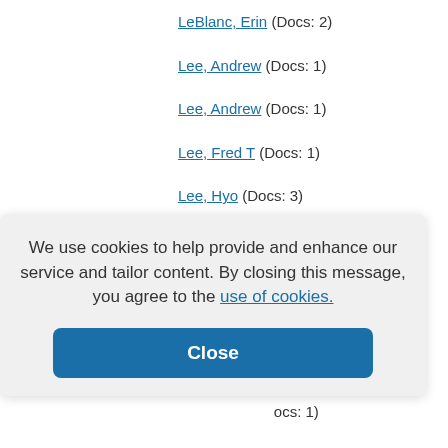LeBlanc, Erin (Docs: 2)
Lee, Andrew (Docs: 1)
Lee, Andrew (Docs: 1)
Lee, Fred T (Docs: 1)
Lee, Hyo (Docs: 3)
Lee, Jeanne (Docs: 1)
Lee, Jennifer (Docs: 1)
(Docs: 1)
(s: 1)
(ocs: 1)
Lee, Winston (Docs: 1)
We use cookies to help provide and enhance our service and tailor content. By closing this message, you agree to the use of cookies.